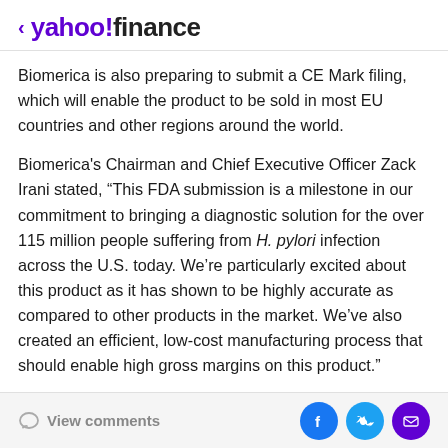< yahoo!finance
Biomerica is also preparing to submit a CE Mark filing, which will enable the product to be sold in most EU countries and other regions around the world.
Biomerica's Chairman and Chief Executive Officer Zack Irani stated, “This FDA submission is a milestone in our commitment to bringing a diagnostic solution for the over 115 million people suffering from H. pylori infection across the U.S. today. We’re particularly excited about this product as it has shown to be highly accurate as compared to other products in the market. We’ve also created an efficient, low-cost manufacturing process that should enable high gross margins on this product.”
View comments